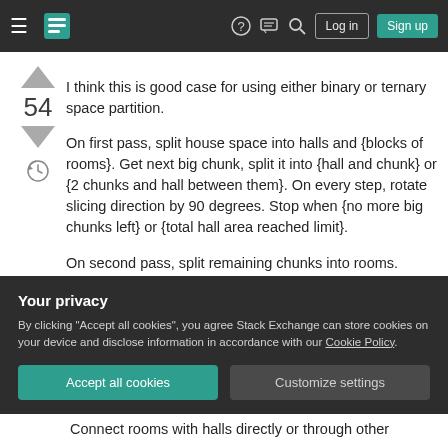Stack Exchange navigation bar with hamburger menu, logo, help, chat, search icons, Log in and Sign up buttons
I think this is good case for using either binary or ternary space partition.
On first pass, split house space into halls and {blocks of rooms}. Get next big chunk, split it into {hall and chunk} or {2 chunks and hall between them}. On every step, rotate slicing direction by 90 degrees. Stop when {no more big chunks left} or {total hall area reached limit}.
On second pass, split remaining chunks into rooms.
Your privacy
By clicking "Accept all cookies", you agree Stack Exchange can store cookies on your device and disclose information in accordance with our Cookie Policy.
Connect rooms with halls directly or through other